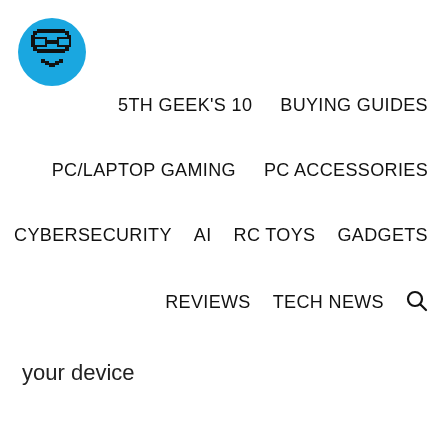[Figure (logo): Blue circle logo with pixel-art glasses icon (geek/nerd face) in black, representing 5th Geek brand]
5TH GEEK'S 10   BUYING GUIDES
PC/LAPTOP GAMING   PC ACCESSORIES
CYBERSECURITY   AI   RC TOYS   GADGETS
REVIEWS   TECH NEWS 🔍
your device